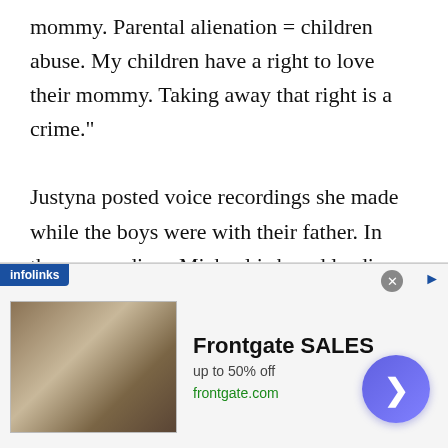mommy. Parental alienation = children abuse. My children have a right to love their mommy. Taking away that right is a crime.”
Justyna posted voice recordings she made while the boys were with their father. In these recordings Michael is heard leading the boys in chants such as “I love Daddy,” “I love Angela,” “Mommy is mean,” “Mommy hits me,” and “Mommy, don’t touch me!” Michael can also be
commanding them: “Louder!”
[Figure (screenshot): Advertisement banner for Frontgate SALES showing outdoor furniture image, up to 50% off, frontgate.com URL, with infolinks badge, close button, and navigation arrow button]